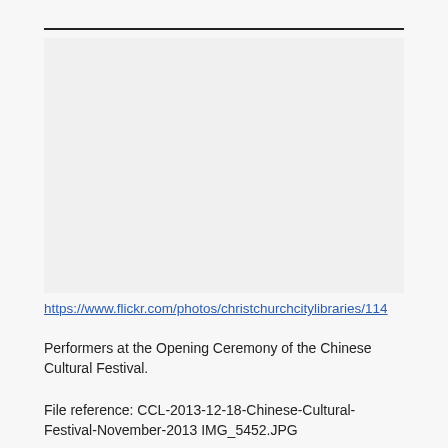[Figure (photo): Placeholder image area — photo of performers at the Opening Ceremony of the Chinese Cultural Festival (image not visible in source)]
https://www.flickr.com/photos/christchurchcitylibraries/114
Performers at the Opening Ceremony of the Chinese Cultural Festival.
File reference: CCL-2013-12-18-Chinese-Cultural-Festival-November-2013 IMG_5452.JPG